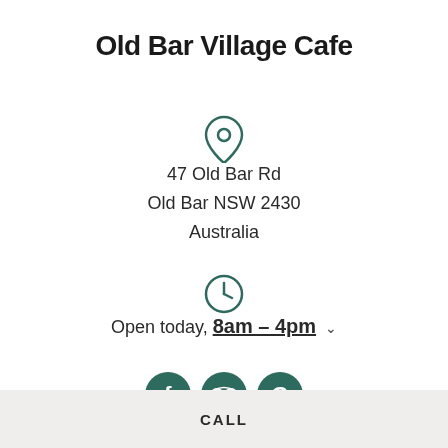Old Bar Village Cafe
[Figure (illustration): Location pin icon (map marker) in teal/dark green outline style]
47 Old Bar Rd
Old Bar NSW 2430
Australia
[Figure (illustration): Clock icon in teal/dark green outline style]
Open today, 8am – 4pm ˅
[Figure (illustration): Three social media icons: Facebook (f), TripAdvisor (owl), Google (G) — all in teal/dark green filled circles]
CALL